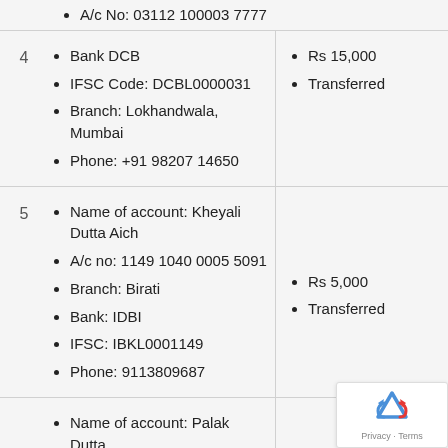A/c No: 03112 100003 7777
Bank DCB
Rs 15,000
Transferred
IFSC Code: DCBL0000031
Branch: Lokhandwala, Mumbai
Phone: +91 98207 14650
Name of account: Kheyali Dutta Aich
A/c no: 1149 1040 0005 5091
Branch: Birati
Bank: IDBI
IFSC: IBKL0001149
Phone: 9113809687
Rs 5,000
Transferred
Name of account: Palak Dutta